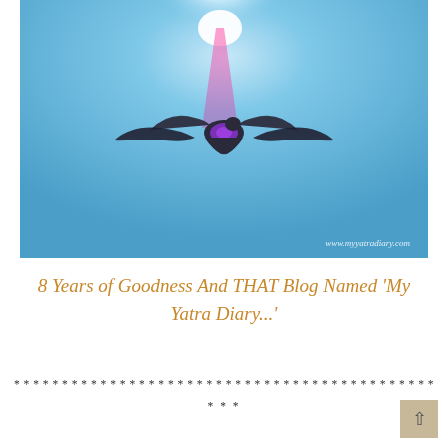[Figure (photo): A seagull in flight against a bright blue sky. The bird has dark wings spread wide, with a purple/violet glow at its body center, and a pink-magenta light beam shooting upward toward a bright white sun. A watermark reads 'www.myyatradiary.com' in white text at the bottom right of the image.]
8 Years of Goodness And THAT Blog Named 'My Yatra Diary...'
* * * * * * * * * * * * * * * * * * * * * * * * * * * * * * * * * * * * * * * * * * * *
* * *